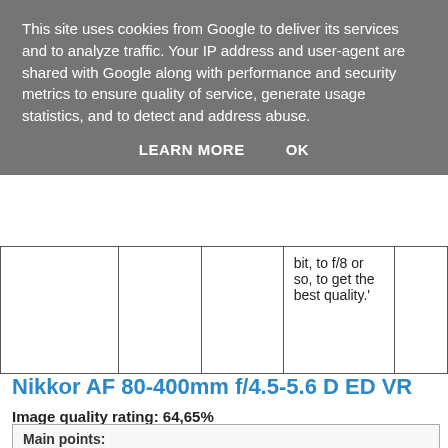This site uses cookies from Google to deliver its services and to analyze traffic. Your IP address and user-agent are shared with Google along with performance and security metrics to ensure quality of service, generate usage statistics, and to detect and address abuse.
LEARN MORE   OK
|  |  |  | bit, to f/8 or so, to get the best quality.' |  |
Nikkor AF 80-400mm f/4.5-5.6 D ED VR
Image quality rating: 64,65%
Overall rating: 70,58%
Main points: